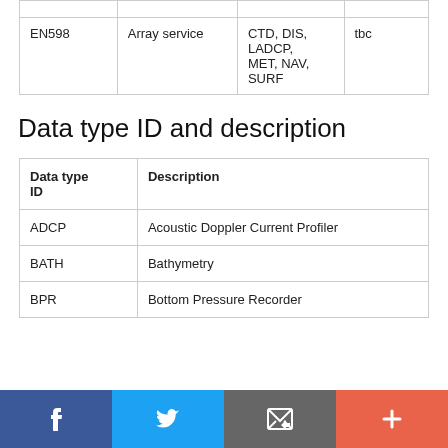|  |  |  |  |
| --- | --- | --- | --- |
| EN598 | Array service | CTD, DIS, LADCP, MET, NAV, SURF | tbc |
Data type ID and description
| Data type ID | Description |
| --- | --- |
| ADCP | Acoustic Doppler Current Profiler |
| BATH | Bathymetry |
| BPR | Bottom Pressure Recorder |